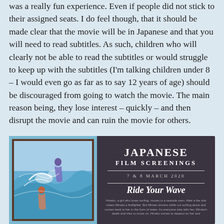was a really fun experience. Even if people did not stick to their assigned seats. I do feel though, that it should be made clear that the movie will be in Japanese and that you will need to read subtitles. As such, children who will clearly not be able to read the subtitles or would struggle to keep up with the subtitles (I'm talking children under 8 – I would even go as far as to say 12 years of age) should be discouraged from going to watch the movie. The main reason being, they lose interest – quickly – and then disrupt the movie and can ruin the movie for others.
[Figure (illustration): Japanese Film Screenings promotional poster for 'Ride Your Wave', 7 & 8 March 2020. Left side shows an anime-style illustration of two figures near ocean waves framed in a dark brown border on a blue background. Right side on dark background shows text: JAPANESE FILM SCREENINGS, 7 & 8 MARCH 2020, Ride Your Wave, followed by a short description.]